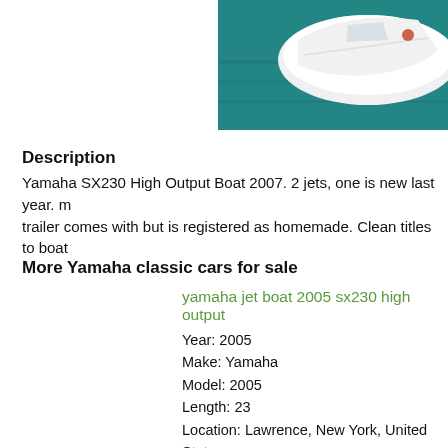[Figure (photo): Aerial or elevated view of a white Yamaha jet boat on teal/green water, partial view showing the bow and top of the boat]
Description
Yamaha SX230 High Output Boat 2007. 2 jets, one is new last year. trailer comes with but is registered as homemade. Clean titles to boat
More Yamaha classic cars for sale
yamaha jet boat 2005 sx230 high output
Year: 2005
Make: Yamaha
Model: 2005
Length: 23
Location: Lawrence, New York, United States
2007 Yamaha 230 SX High Output Used
Year: 2007
Make: Yamaha